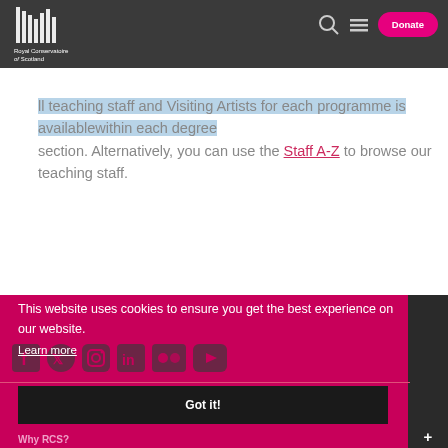Royal Conservatoire of Scotland — navigation bar with logo, search, menu, and Donate button
ll teaching staff and Visiting Artists for each programme is availablewithin each degree section. Alternatively, you can use the Staff A-Z to browse our teaching staff.
This website uses cookies to ensure you get the best experience on our website.
Learn more
Got it!
Why RCS?